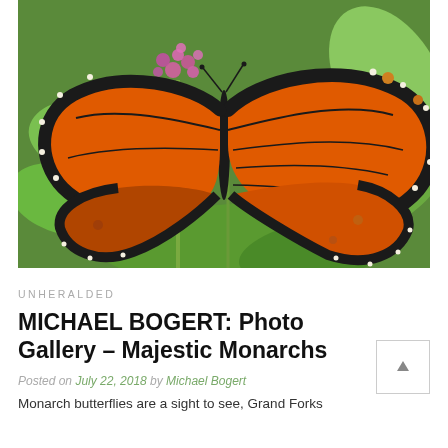[Figure (photo): Close-up photograph of a Monarch butterfly with orange and black wings spread open, perched on pink milkweed flowers with green leaves in the background.]
UNHERALDED
MICHAEL BOGERT: Photo Gallery – Majestic Monarchs
Posted on July 22, 2018 by Michael Bogert
Monarch butterflies are a sight to see, Grand Forks